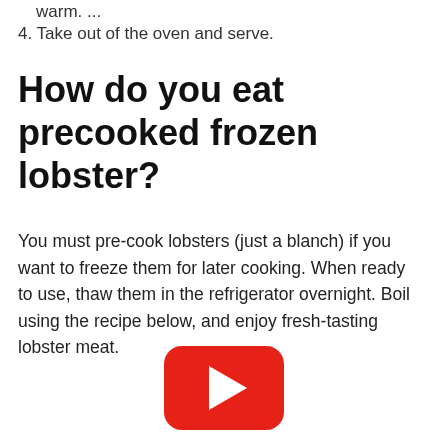warm. ...
4. Take out of the oven and serve.
How do you eat precooked frozen lobster?
You must pre-cook lobsters (just a blanch) if you want to freeze them for later cooking. When ready to use, thaw them in the refrigerator overnight. Boil using the recipe below, and enjoy fresh-tasting lobster meat.
[Figure (other): YouTube play button icon — red rounded rectangle with white triangle pointing right]